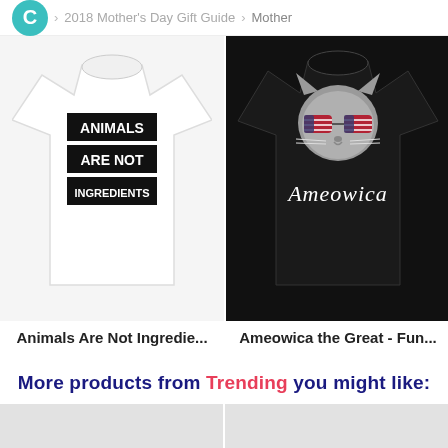C > 2018 Mother's Day Gift Guide > Mother
[Figure (photo): White t-shirt with bold black text 'ANIMALS ARE NOT INGREDIENTS']
Animals Are Not Ingredie...
[Figure (photo): Black t-shirt with a cat wearing American flag sunglasses and cursive text 'Ameowica']
Ameowica the Great - Fun...
More products from Trending you might like: